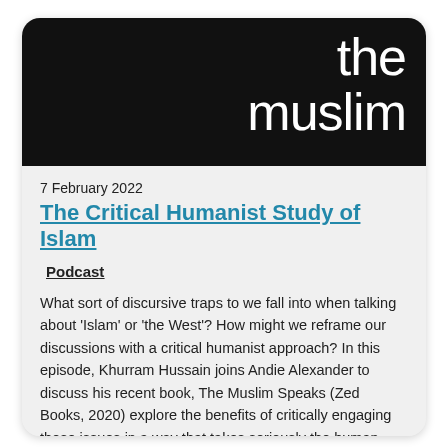the muslim
7 February 2022
The Critical Humanist Study of Islam
Podcast
What sort of discursive traps to we fall into when talking about 'Islam' or 'the West'? How might we reframe our discussions with a critical humanist approach? In this episode, Khurram Hussain joins Andie Alexander to discuss his recent book, The Muslim Speaks (Zed Books, 2020) explore the benefits of critically engaging these issues in a way that takes seriously the human-focused study of religion.